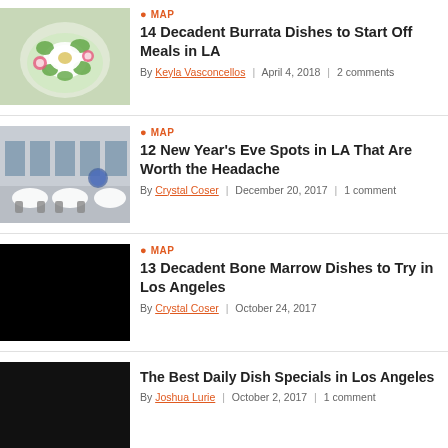MAP | 14 Decadent Burrata Dishes to Start Off Meals in LA | By Keyla Vasconcellos | April 4, 2018 | 2 comments
MAP | 12 New Year's Eve Spots in LA That Are Worth the Headache | By Crystal Coser | December 20, 2017 | 1 comment
MAP | 13 Decadent Bone Marrow Dishes to Try in Los Angeles | By Crystal Coser | October 24, 2017
The Best Daily Dish Specials in Los Angeles | By Joshua Lurie | October 2, 2017 | 1 comment